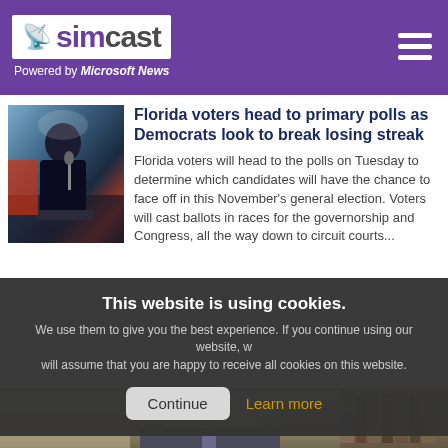simcast — Powered by Microsoft News
[Figure (photo): Photo of a man in a suit speaking at a microphone at a podium, with a reddish background]
Florida voters head to primary polls as Democrats look to break losing streak
Florida voters will head to the polls on Tuesday to determine which candidates will have the chance to face off in this November's general election. Voters will cast ballots in races for the governorship and Congress, all the way down to circuit courts...
This website is using cookies. We use them to give you the best experience. If you continue using our website, we will assume that you are happy to receive all cookies on this website.
[Figure (photo): Photo of an older man in a suit with bookshelves in the background]